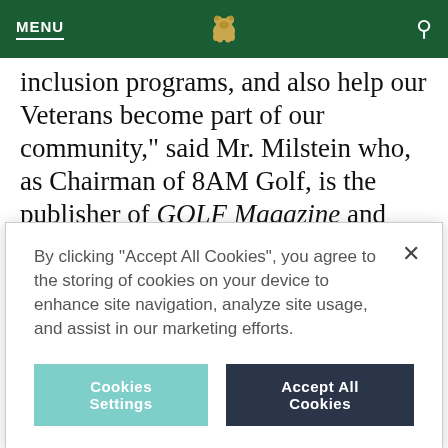MENU
inclusion programs, and also help our Veterans become part of our community," said Mr. Milstein who, as Chairman of 8AM Golf, is the publisher of GOLF Magazine and Executive Chairman of the Nicklaus Companies
By clicking “Accept All Cookies”, you agree to the storing of cookies on your device to enhance site navigation, analyze site usage, and assist in our marketing efforts.